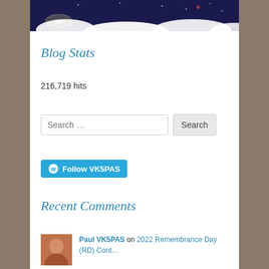[Figure (photo): Banner image with dark night sky, RM logo badge, and white clouds/snow at the bottom]
Blog Stats
216,719 hits
Search …  [Search button]
[Figure (other): Follow VK5PAS button with WordPress logo]
Recent Comments
Paul VK5PAS on 2022 Remembrance Day (RD) Cont…